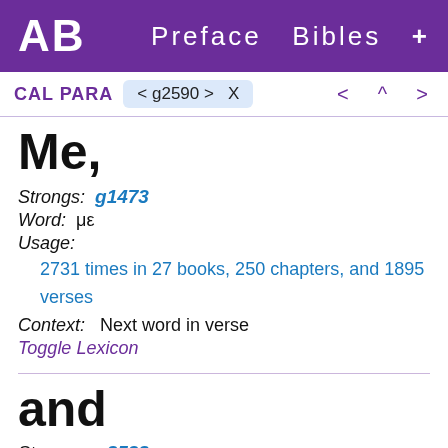AB   Preface  Bibles  +
CAL PARA  < g2590 >  X     <  ^  >
Me,
Strongs:  g1473
Word:  με
Usage:
2731 times in 27 books, 250 chapters, and 1895 verses
Context:   Next word in verse
Toggle Lexicon
and
Strongs:  g2532
Word:  καὶ